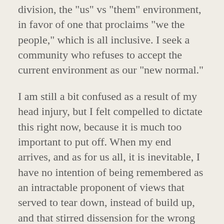division, the "us" vs "them" environment, in favor of one that proclaims "we the people," which is all inclusive. I seek a community who refuses to accept the current environment as our "new normal."
I am still a bit confused as a result of my head injury, but I felt compelled to dictate this right now, because it is much too important to put off. When my end arrives, and as for us all, it is inevitable, I have no intention of being remembered as an intractable proponent of views that served to tear down, instead of build up, and that stirred dissension for the wrong reasons. I have no desire for my children or grandchildren to model hate, division, lies, fear, or any number of other negative qualities, for the sake of politics — any politics. I have no intention of leaving behind such a legacy.